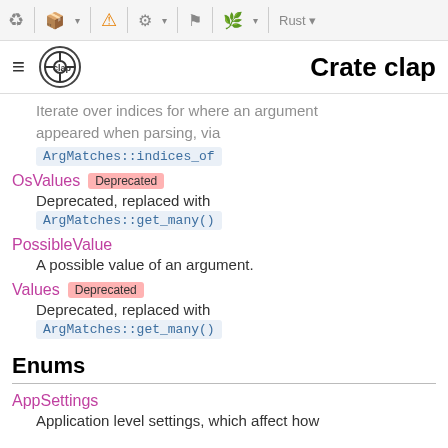Crate clap
Iterate over indices for where an argument appeared when parsing, via ArgMatches::indices_of
OsValues Deprecated — Deprecated, replaced with ArgMatches::get_many()
PossibleValue — A possible value of an argument.
Values Deprecated — Deprecated, replaced with ArgMatches::get_many()
Enums
AppSettings — Application level settings, which affect how